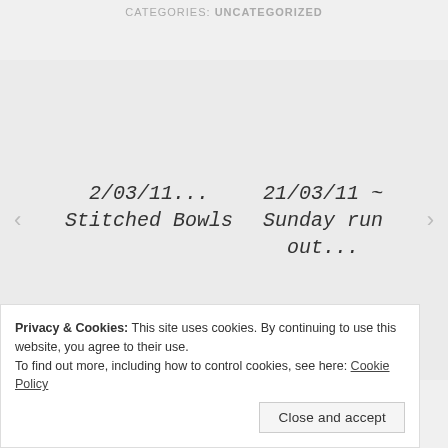CATEGORIES: UNCATEGORIZED
< 2/03/11... Stitched Bowls
21/03/11 ~ Sunday run out... >
Leave a Reply
Privacy & Cookies: This site uses cookies. By continuing to use this website, you agree to their use.
To find out more, including how to control cookies, see here: Cookie Policy
Close and accept
Comment *